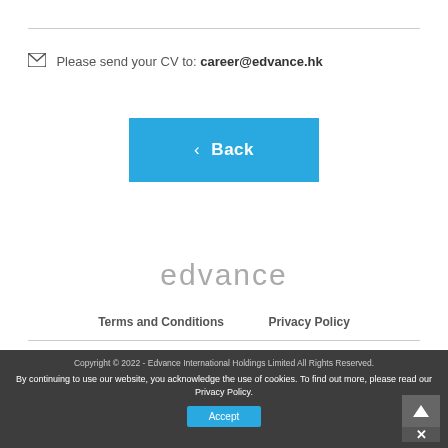✉ Please send your CV to: career@edvance.hk
[Figure (other): Blue 'Back' button with left chevron]
[Figure (logo): edvance logo in light grey text]
Terms and Conditions   Privacy Policy
Copyright © 2022 - Edvance International Holdings Limited All Rights Reserved.
By continuing to use our website, you acknowledge the use of cookies. To find out more, please read our Privacy Policy.
[Figure (other): Blue Accept button and scroll-up/close buttons in footer]